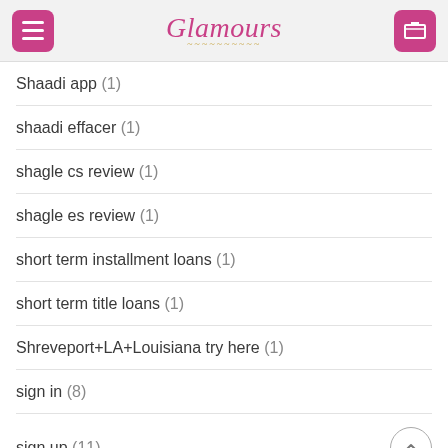Glamours
Shaadi app (1)
shaadi effacer (1)
shagle cs review (1)
shagle es review (1)
short term installment loans (1)
short term title loans (1)
Shreveport+LA+Louisiana try here (1)
sign in (8)
sign up (11)
silverdaddies eliminare l'account (1)